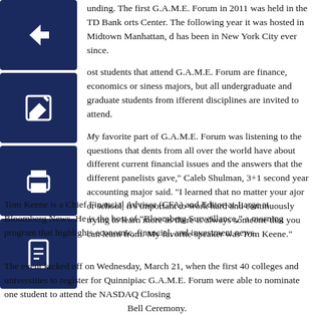unding. The first G.A.M.E. Forum in 2011 was held in the TD Bank orts Center. The following year it was hosted in Midtown Manhattan, d has been in New York City ever since.
ost students that attend G.A.M.E. Forum are finance, economics or siness majors, but all undergraduate and graduate students from ifferent disciplines are invited to attend.
My favorite part of G.A.M.E. Forum was listening to the questions that dents from all over the world have about different current financial issues and the answers that the different panelists gave," Caleb Shulman, 3+1 second year accounting major said. "I learned that no matter your ajor or school, it's important to work hard and continuously trying to learn more as there is always someone that you can learn from. My favorite speaker was Tom Keene."
Tom Keene is a Chief Financial Advisor (CFA) and Editor-at-Large at Bloomberg News. He is the host of “Bloomberg Surveillance,” a morning program that highlights economic, financial, and investment news.
The event kicked off on Wednesday, March 21, when the first 40 colleges and universities to register for Quinnipiac G.A.M.E. Forum were able to nominate one student to attend the NASDAQ Closing Bell Ceremony.